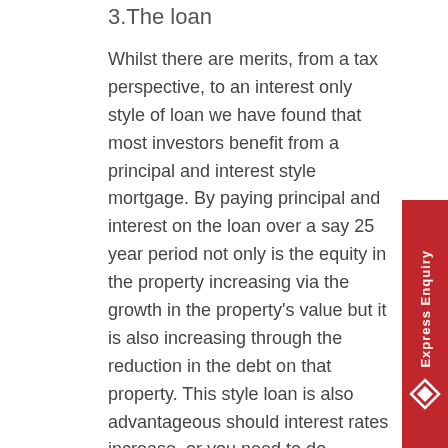3.The loan
Whilst there are merits, from a tax perspective, to an interest only style of loan we have found that most investors benefit from a principal and interest style mortgage. By paying principal and interest on the loan over a say 25 year period not only is the equity in the property increasing via the growth in the property's value but it is also increasing through the reduction in the debt on that property. This style loan is also advantageous should interest rates increase, or you need to do significant repairs on the property without the tenant occupying the property or you were to incur a special levy on the property.
4.Location
We also prefer clients to purchase a property in a location that people want to rent. That is, an area close to work that has nearby facilities. Conversely, this is not always similar to an area where you would